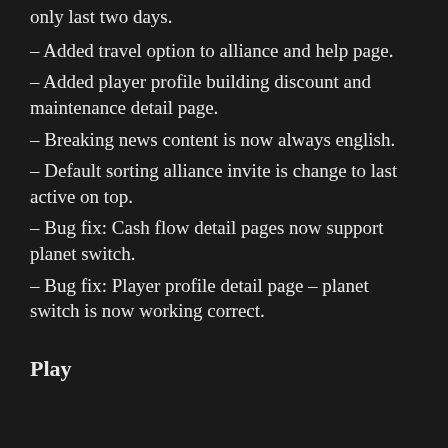only last two days.
– Added travel option to alliance and help page.
– Added player profile building discount and maintenance detail page.
– Breaking news content is now always english.
– Default sorting alliance invite is change to last active on top.
– Bug fix: Cash flow detail pages now support planet switch.
– Bug fix: Player profile detail page – planet switch is now working correct.
Play